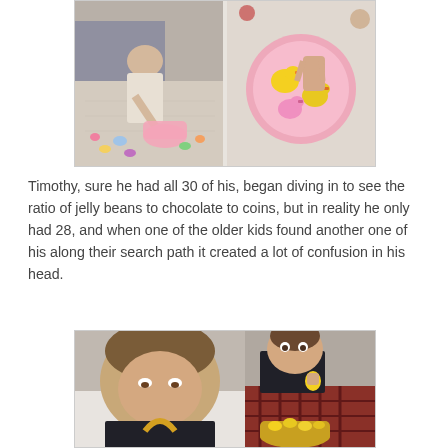[Figure (photo): Top photo collage: left side shows a young girl reaching toward Easter eggs and a pink basket on a patterned rug near a gray couch; right side shows an overhead view of a pink basket filled with rubber duck toys and Easter eggs.]
Timothy, sure he had all 30 of his, began diving in to see the ratio of jelly beans to chocolate to coins, but in reality he only had 28, and when one of the older kids found another one of his along their search path it created a lot of confusion in his head.
[Figure (photo): Bottom photo collage: left side shows a close-up of a brown-haired boy in a black shirt looking down, with a yellow basket visible; right side shows the same boy holding a yellow egg and looking at camera, wearing plaid pajama pants and holding a yellow basket filled with yellow eggs.]